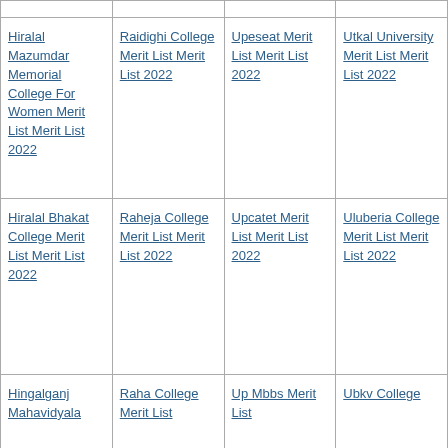|  |  |  |  |
| Hiralal Mazumdar Memorial College For Women Merit List Merit List 2022 | Raidighi College Merit List Merit List 2022 | Upeseat Merit List Merit List 2022 | Utkal University Merit List Merit List 2022 |
| Hiralal Bhakat College Merit List Merit List 2022 | Raheja College Merit List Merit List 2022 | Upcatet Merit List Merit List 2022 | Uluberia College Merit List Merit List 2022 |
| Hingalganj Mahavidyala ... | Raha College Merit List ... | Up Mbbs Merit List ... | Ubkv College ... |